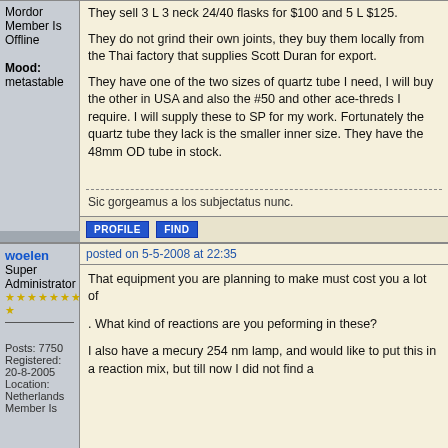Mordor Member Is Offline Mood: metastable
They sell 3 L 3 neck 24/40 flasks for $100 and 5 L $125. They do not grind their own joints, they buy them locally from the Thai factory that supplies Scott Duran for export.

They have one of the two sizes of quartz tube I need, I will buy the other in USA and also the #50 and other ace-threds I require. I will supply these to SP for my work. Fortunately the quartz tube they lack is the smaller inner size. They have the 48mm OD tube in stock.
Sic gorgeamus a los subjectatus nunc.
PROFILE   FIND
woelen Super Administrator ★★★★★★★★★★★
Posts: 7750 Registered: 20-8-2005 Location: Netherlands Member Is
posted on 5-5-2008 at 22:35
That equipment you are planning to make must cost you a lot of
. What kind of reactions are you peforming in these?
I also have a mecury 254 nm lamp, and would like to put this in a reaction mix, but till now I did not find a